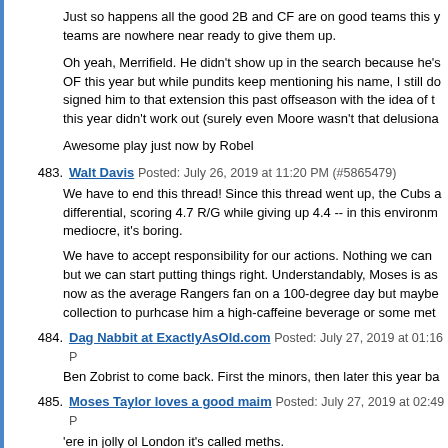Just so happens all the good 2B and CF are on good teams this year and those teams are nowhere near ready to give them up.
Oh yeah, Merrifield. He didn't show up in the search because he's listed as OF this year but while pundits keep mentioning his name, I still don't think signed him to that extension this past offseason with the idea of trading him this year didn't work out (surely even Moore wasn't that delusional).
Awesome play just now by Robel
483. Walt Davis Posted: July 26, 2019 at 11:20 PM (#5865479)
We have to end this thread! Since this thread went up, the Cubs a... differential, scoring 4.7 R/G while giving up 4.4 -- in this environment... mediocre, it's boring.

We have to accept responsibility for our actions. Nothing we can... but we can start putting things right. Understandably, Moses is as... now as the average Rangers fan on a 100-degree day but maybe... collection to purhcase him a high-caffeine beverage or some met...
484. Dag Nabbit at ExactlyAsOld.com Posted: July 27, 2019 at 01:16 P...
Ben Zobrist to come back. First the minors, then later this year ba...
485. Moses Taylor loves a good maim Posted: July 27, 2019 at 02:49 P...
'ere in jolly ol London it's called meths.
486. Dag Nabbit at ExactlyAsOld.com Posted: July 28, 2019 at 08:35 A...
TRIVIA QUESTION:
Who was the last team the Cubs defeated in a road series?

Answer: